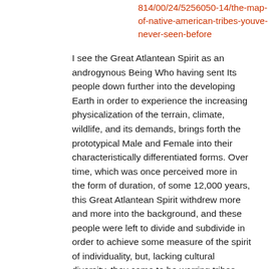814/00/24/5256050-14/the-map-of-native-american-tribes-youve-never-seen-before
I see the Great Atlantean Spirit as an androgynous Being Who having sent Its people down further into the developing Earth in order to experience the increasing physicalization of the terrain, climate, wildlife, and its demands, brings forth the prototypical Male and Female into their characteristically differentiated forms. Over time, which was once perceived more in the form of duration, of some 12,000 years, this Great Atlantean Spirit withdrew more and more into the background, and these people were left to divide and subdivide in order to achieve some measure of the spirit of individuality, but, lacking cultural diversity, they came to be warring tribes